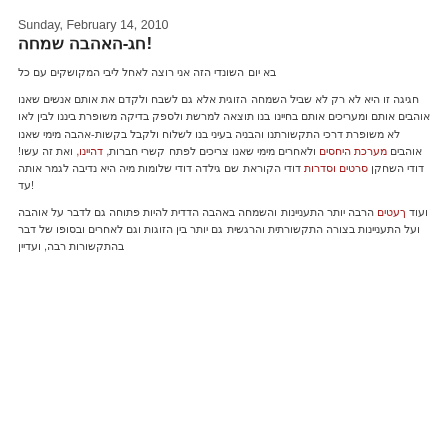Sunday, February 14, 2010
Valentine's Day greetings! (rendered in script placeholder blocks)
First short paragraph of text in non-Latin script.
Longer paragraph of text in non-Latin script with hyperlinks highlighted in red/dark-red.
Final paragraph of text in non-Latin script with a red hyperlink near the beginning.